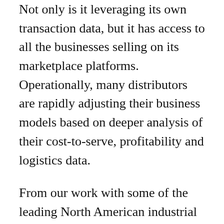Not only is it leveraging its own transaction data, but it has access to all the businesses selling on its marketplace platforms. Operationally, many distributors are rapidly adjusting their business models based on deeper analysis of their cost-to-serve, profitability and logistics data.
From our work with some of the leading North American industrial distributors and manufacturers that have developed strong market analytics and business intelligence teams, here are some ways to change how your organization thinks about analytics:
1. Choose a leader. Since the CFO is in charge of the numbers, the analytics function almost